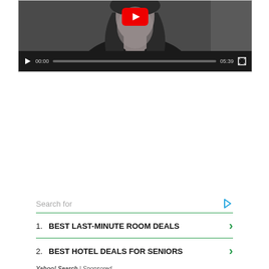[Figure (screenshot): YouTube video player showing a black-and-white thumbnail of a woman with long hair, YouTube play button overlay, video controls bar with play button, timecode 00:00, progress bar, duration 05:39, and fullscreen button]
Search for
1. BEST LAST-MINUTE ROOM DEALS
2. BEST HOTEL DEALS FOR SENIORS
Yahoo! Search | Sponsored